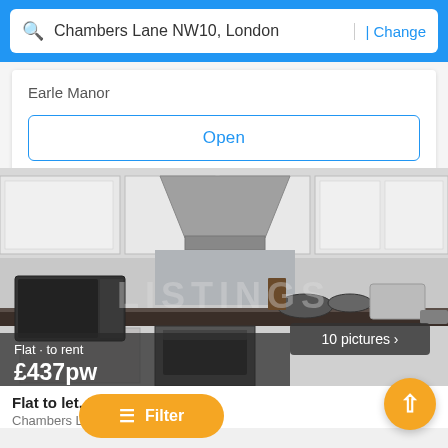Chambers Lane NW10, London | Change
Earle Manor
Open
[Figure (photo): Kitchen photo showing modern white cabinets, stainless steel range hood, dark granite countertops, microwave, cooktop, and kitchen appliances. Watermark text 'LISTINGS' visible. Badge showing '10 pictures' with chevron.]
Flat · to rent
£437pw
Flat to let, London - Modern
Chambers Lane NW10, London
Filter